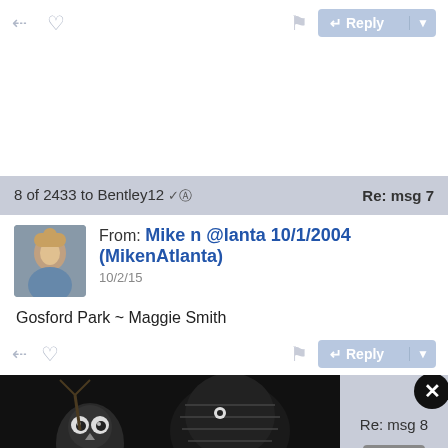8 of 2433 to Bentley12   Re: msg 7
From: Mike n @lanta 10/1/2004 (MikenAtlanta)
10/2/15
Gosford Park ~ Maggie Smith
[Figure (photo): Advertisement banner showing black-and-white illustration of an owl with detailed feathers, another animal, and Jurga Creations logo. Contains 'See More Art' button.]